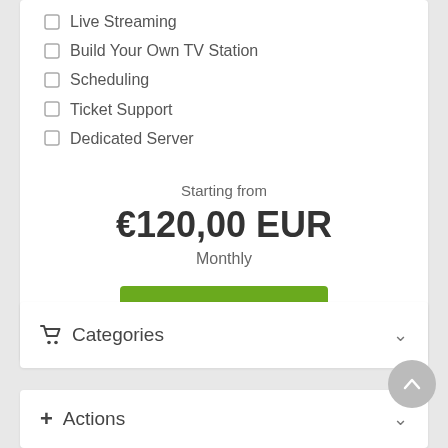Live Streaming
Build Your Own TV Station
Scheduling
Ticket Support
Dedicated Server
Starting from
€120,00 EUR
Monthly
ORDER NOW
Categories
Actions